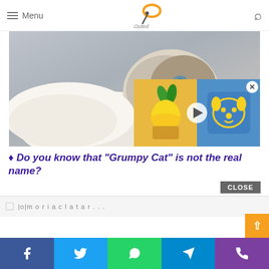Menu | Outed (logo) | Search
[Figure (photo): Close-up photo of a fluffy white and brown cat (Ragdoll/Grumpy Cat style) lying on a surface, with a video overlay thumbnail showing cupcake and cartoon dog cookie decoration]
♦ Do you know that "Grumpy Cat" is not the real name?
CLOSE
Facebook | Twitter | WhatsApp | Telegram | Phone social sharing bar